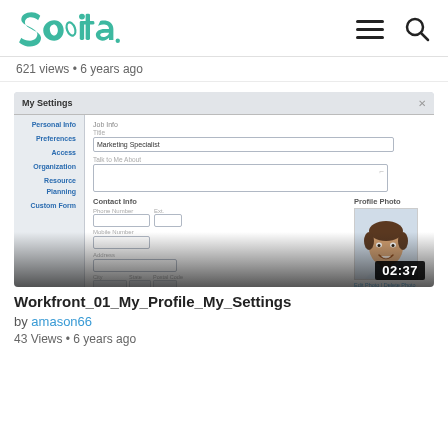Sevita [logo] [hamburger menu] [search icon]
621 views • 6 years ago
[Figure (screenshot): Screenshot of a web application 'My Settings' page showing a user profile form with fields for Personal Info, Preferences, Access, Organization, Resource Planning, Custom Form in the sidebar. Main content shows Job Info section with Title field filled 'Marketing Specialist', Talk to Me About textarea, Contact Info with Phone Number, Ext, Mobile Number, Address fields, and a Profile Photo section showing a smiling man's photo with Edit Photo / Delete Photo links and an Upload Photo button. Video duration badge shows 02:37.]
Workfront_01_My_Profile_My_Settings
by amason66
43 Views  •  6 years ago